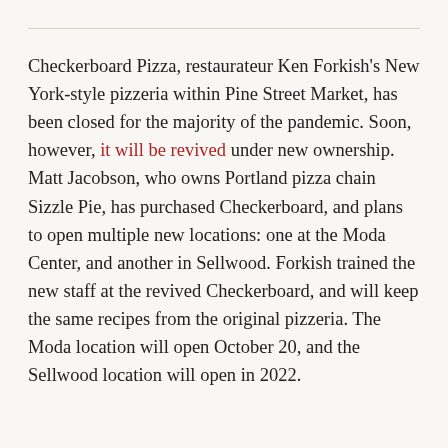Checkerboard Pizza, restaurateur Ken Forkish's New York-style pizzeria within Pine Street Market, has been closed for the majority of the pandemic. Soon, however, it will be revived under new ownership. Matt Jacobson, who owns Portland pizza chain Sizzle Pie, has purchased Checkerboard, and plans to open multiple new locations: one at the Moda Center, and another in Sellwood. Forkish trained the new staff at the revived Checkerboard, and will keep the same recipes from the original pizzeria. The Moda location will open October 20, and the Sellwood location will open in 2022.